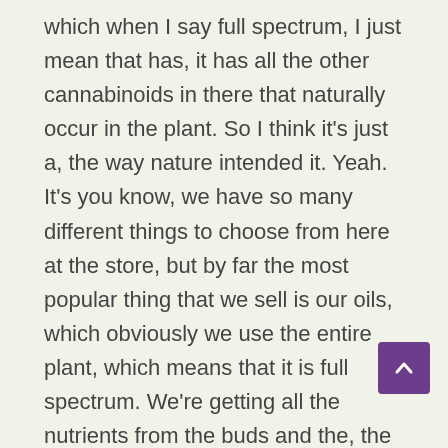which when I say full spectrum, I just mean that has, it has all the other cannabinoids in there that naturally occur in the plant. So I think it's just a, the way nature intended it. Yeah. It's you know, we have so many different things to choose from here at the store, but by far the most popular thing that we sell is our oils, which obviously we use the entire plant, which means that it is full spectrum. We're getting all the nutrients from the buds and the, the flour. And it's the, it's when you, when you know, when you're mentioning quality earlier, that's one of the things, you know, you can take CBD from these companies, these a lot of these new fly by night companies. They're